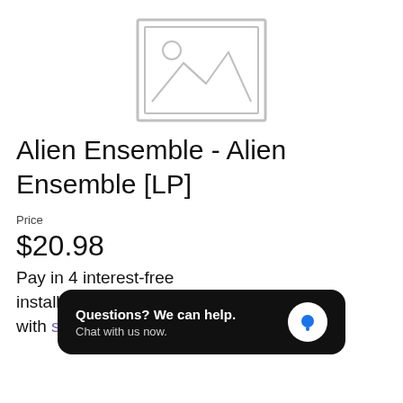[Figure (illustration): Grey placeholder image icon with a sun/circle and mountain silhouette inside a rectangular border]
Alien Ensemble - Alien Ensemble [LP]
Price
$20.98
Pay in 4 interest-free installments for orders over $50 with shop. Learn more
Questions? We can help. Chat with us now.